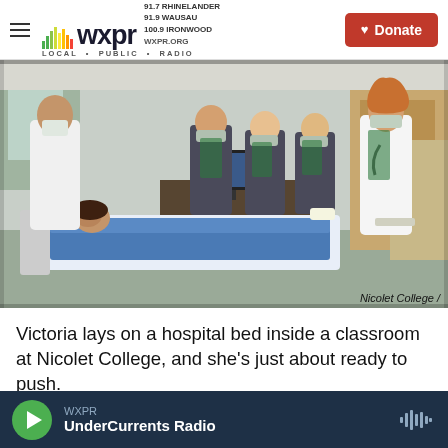WXPR — LOCAL · PUBLIC · RADIO — 91.7 RHINELANDER, 91.9 WAUSAU, 100.9 IRONWOOD, WXPR.ORG — Donate
[Figure (photo): Nursing students wearing masks stand around a hospital bed with a simulation mannequin inside a classroom at Nicolet College. An instructor at left monitors a computer. A student in a white coat holds a clipboard at right.]
Nicolet College /
Victoria lays on a hospital bed inside a classroom at Nicolet College, and she's just about ready to push.
WXPR — UnderCurrents Radio